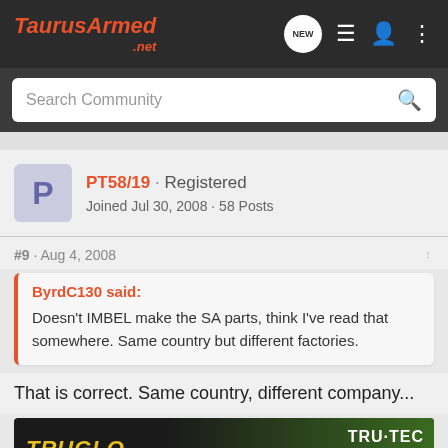TaurusArmed.net
Search Community
PT58/19 · Registered
Joined Jul 30, 2008 · 58 Posts
#9 · Aug 4, 2008
ByrdC130 said:
Doesn't IMBEL make the SA parts, think I've read that somewhere. Same country but different factories.
That is correct. Same country, different company...
[Figure (screenshot): TRUGLO advertisement banner showing TRU-TEC MICRO red dot sight]
"LIVE FR...